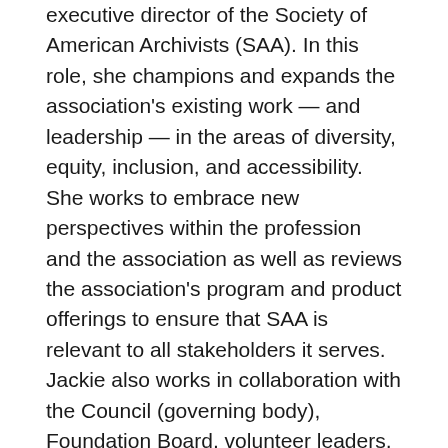executive director of the Society of American Archivists (SAA). In this role, she champions and expands the association's existing work — and leadership — in the areas of diversity, equity, inclusion, and accessibility. She works to embrace new perspectives within the profession and the association as well as reviews the association's program and product offerings to ensure that SAA is relevant to all stakeholders it serves. Jackie also works in collaboration with the Council (governing body), Foundation Board, volunteer leaders, and other related associations.
Tia Perry
Tia Perry is an accomplished association professional with 15 years of association